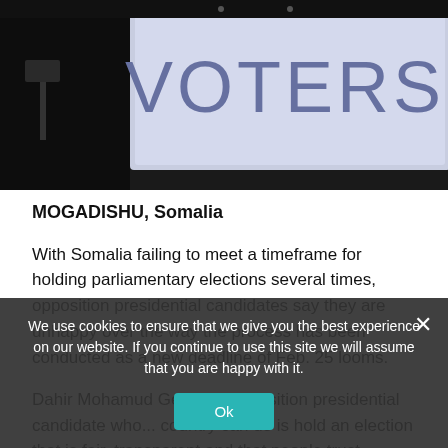[Figure (photo): Dark photograph showing a whiteboard or sign with the word VOTERS written in large letters]
MOGADISHU, Somalia
With Somalia failing to meet a timeframe for holding parliamentary elections several times, opposition presidential candidates say they are unhappy over the way the process has been conducted as a new deadline of Feb. 25 looms.
Dahir Mohamud Gelle, an opposition presidential candidate who... country can do is hold an election that is fair, transparent and that people trust.
We use cookies to ensure that we give you the best experience on our website. If you continue to use this site we will assume that you are happy with it.